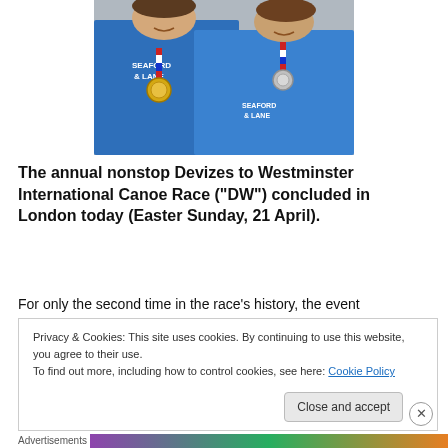[Figure (photo): Two people wearing blue 'Seaford & Lane' t-shirts and medals with red, white and blue ribbons, smiling]
The annual nonstop Devizes to Westminster International Canoe Race (“DW”) concluded in London today (Easter Sunday, 21 April).
For only the second time in the race’s history, the event
Privacy & Cookies: This site uses cookies. By continuing to use this website, you agree to their use.
To find out more, including how to control cookies, see here: Cookie Policy
Close and accept
Advertisements